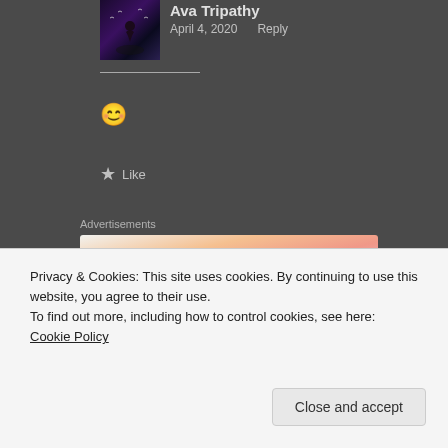Ava Tripathy
April 4, 2020   Reply
[Figure (illustration): Small avatar photo showing a silhouette figure at dusk with birds]
😊
★ Like
Advertisements
[Figure (screenshot): WP VIP advertisement banner with orange-pink gradient background, WordPress logo, WP VIP text, and a 'Learn more →' dark pill button]
Privacy & Cookies: This site uses cookies. By continuing to use this website, you agree to their use.
To find out more, including how to control cookies, see here: Cookie Policy
Close and accept